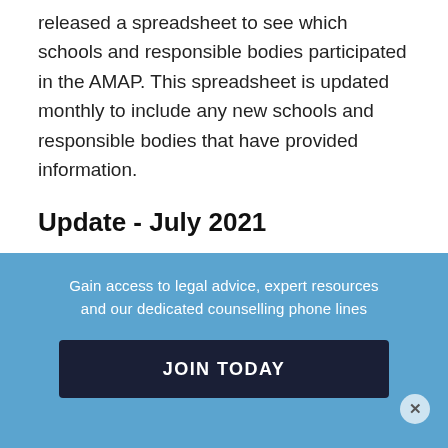released a spreadsheet to see which schools and responsible bodies participated in the AMAP. This spreadsheet is updated monthly to include any new schools and responsible bodies that have provided information.
Update - July 2021
The AMAP Portal will re-open from July 2021 to 29 October 2021 to allow responsible bodies to complete or submit any
[Figure (infographic): Blue overlay banner with text 'Gain access to legal advice, expert resources and our dedicated counselling phone lines', a dark navy 'JOIN TODAY' button, and a close (X) button in bottom right.]